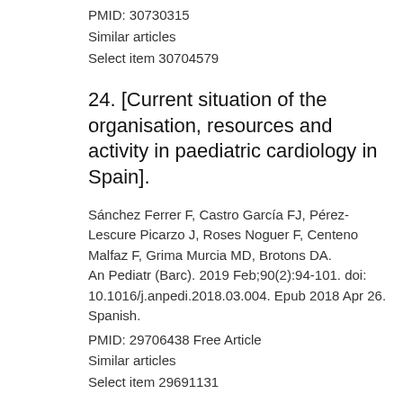PMID: 30730315
Similar articles
Select item 30704579
24. [Current situation of the organisation, resources and activity in paediatric cardiology in Spain].
Sánchez Ferrer F, Castro García FJ, Pérez-Lescure Picarzo J, Roses Noguer F, Centeno Malfaz F, Grima Murcia MD, Brotons DA.
An Pediatr (Barc). 2019 Feb;90(2):94-101. doi: 10.1016/j.anpedi.2018.03.004. Epub 2018 Apr 26. Spanish.
PMID: 29706438 Free Article
Similar articles
Select item 29691131